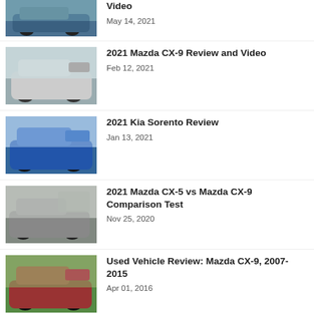Video — May 14, 2021
2021 Mazda CX-9 Review and Video — Feb 12, 2021
2021 Kia Sorento Review — Jan 13, 2021
2021 Mazda CX-5 vs Mazda CX-9 Comparison Test — Nov 25, 2020
Used Vehicle Review: Mazda CX-9, 2007-2015 — Apr 01, 2016